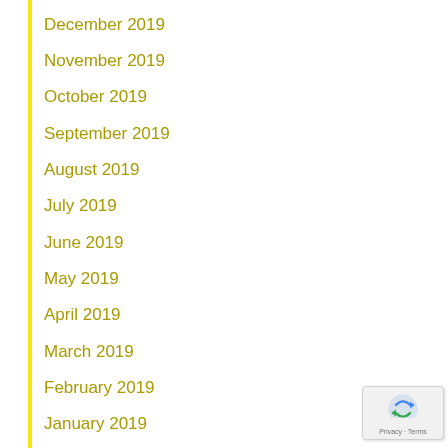December 2019
November 2019
October 2019
September 2019
August 2019
July 2019
June 2019
May 2019
April 2019
March 2019
February 2019
January 2019